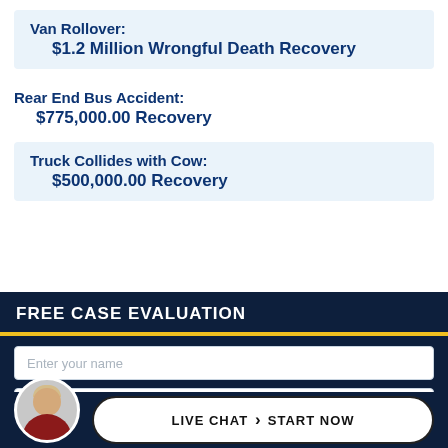Van Rollover: $1.2 Million Wrongful Death Recovery
Rear End Bus Accident: $775,000.00 Recovery
Truck Collides with Cow: $500,000.00 Recovery
FREE CASE EVALUATION
Enter your name
LIVE CHAT › START NOW